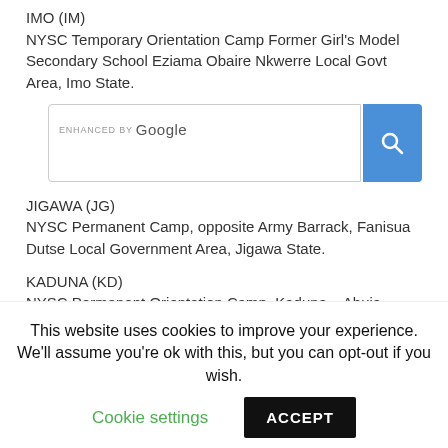IMO (IM)
NYSC Temporary Orientation Camp Former Girl's Model Secondary School Eziama Obaire Nkwerre Local Govt Area, Imo State.
[Figure (screenshot): Google search bar with 'ENHANCED BY Google' label and a blue search button with magnifying glass icon]
JIGAWA (JG)
NYSC Permanent Camp, opposite Army Barrack, Fanisua Dutse Local Government Area, Jigawa State.
KADUNA (KD)
NYSC Permanent Orientation Camp, Kaduna – Abuja Road,
This website uses cookies to improve your experience. We'll assume you're ok with this, but you can opt-out if you wish. Cookie settings ACCEPT